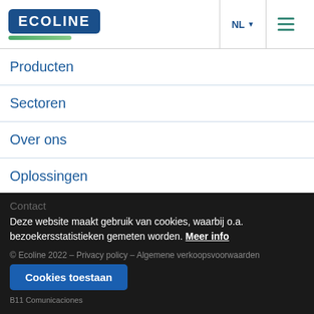ECOLINE | NL | menu
Producten
Sectoren
Over ons
Oplossingen
Nieuws
Jobs
Contact
Deze website maakt gebruik van cookies, waarbij o.a. bezoekersstatistieken gemeten worden. Meer info
© Ecoline 2022 – Privacy policy – Algemene verkoopsvoorwaarden
Cookies toestaan
B11 Comunicaciones